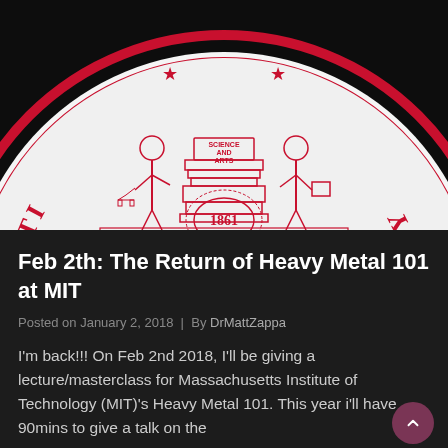[Figure (logo): MIT seal/logo — red on white circular seal showing two figures flanking a pedestal, dated 1861, with text 'SCIENCE AND ARTS'. Circular border reads 'INSTI...LOGY' (Massachusetts Institute of Technology). Cropped to show lower portion of the seal.]
Feb 2th: The Return of Heavy Metal 101 at MIT
Posted on January 2, 2018  |  By DrMattZappa
I'm back!!! On Feb 2nd 2018, I'll be giving a lecture/masterclass for Massachusetts Institute of Technology (MIT)'s Heavy Metal 101. This year i'll have 90mins to give a talk on the